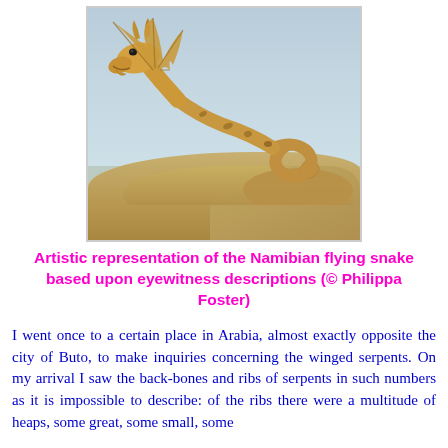[Figure (illustration): Artistic illustration of a golden/tan winged serpent (Namibian flying snake) with dragon-like head, bat wings, and coiled snake body, flying above rocky desert terrain. The background shows a light blue sky and sandy brown rocks below.]
Artistic representation of the Namibian flying snake based upon eyewitness descriptions (© Philippa Foster)
I went once to a certain place in Arabia, almost exactly opposite the city of Buto, to make inquiries concerning the winged serpents. On my arrival I saw the back-bones and ribs of serpents in such numbers as it is impossible to describe: of the ribs there were a multitude of heaps, some great, some small, some